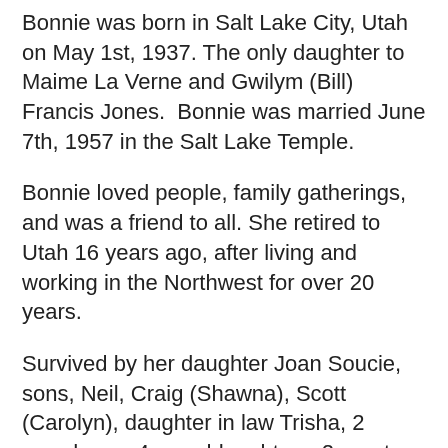Bonnie was born in Salt Lake City, Utah on May 1st, 1937. The only daughter to Maime La Verne and Gwilym (Bill) Francis Jones.  Bonnie was married June 7th, 1957 in the Salt Lake Temple.
Bonnie loved people, family gatherings, and was a friend to all. She retired to Utah 16 years ago, after living and working in the Northwest for over 20 years.
Survived by her daughter Joan Soucie, sons, Neil, Craig (Shawna), Scott (Carolyn), daughter in law Trisha, 2 grandsons, 4 granddaughters, 2 great grandsons, 4 great granddaughters, brother Kenneth Jones (Nancy). Sister in laws, Norma Soderborg and Helen Hansen.